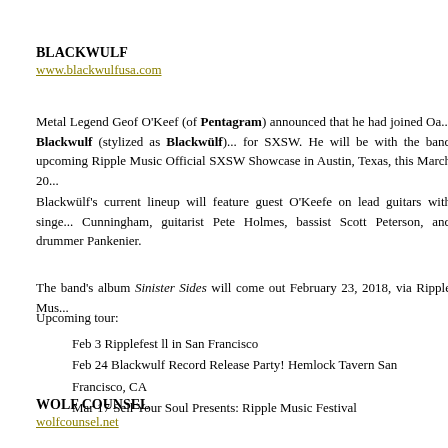BLACKWULF
www.blackwulfusa.com
Metal Legend Geof O'Keef (of Pentagram) announced that he had joined Oa... Blackwulf (stylized as Blackwülf)... for SXSW. He will be with the band upcoming Ripple Music Official SXSW Showcase in Austin, Texas, this March 20...
Blackwülf's current lineup will feature guest O'Keefe on lead guitars with singe... Cunningham, guitarist Pete Holmes, bassist Scott Peterson, and drummer Pankenier.
The band's album Sinister Sides will come out February 23, 2018, via Ripple Mus...
Upcoming tour:
Feb 3 Ripplefest ll in San Francisco
Feb 24 Blackwulf Record Release Party! Hemlock Tavern San Francisco, CA
Mar 17 Sell Your Soul Presents: Ripple Music Festival
WOLF COUNSEL
wolfcounsel.net